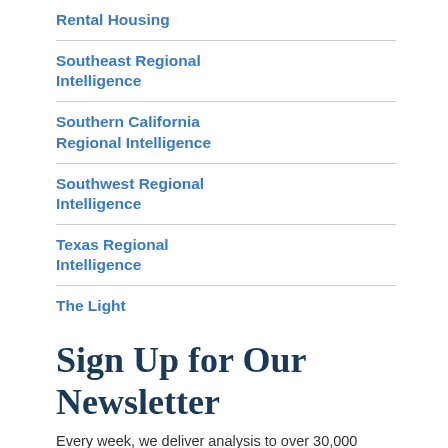Rental Housing
Southeast Regional Intelligence
Southern California Regional Intelligence
Southwest Regional Intelligence
Texas Regional Intelligence
The Light
Sign Up for Our Newsletter
Every week, we deliver analysis to over 30,000 subscribers with our Building Market